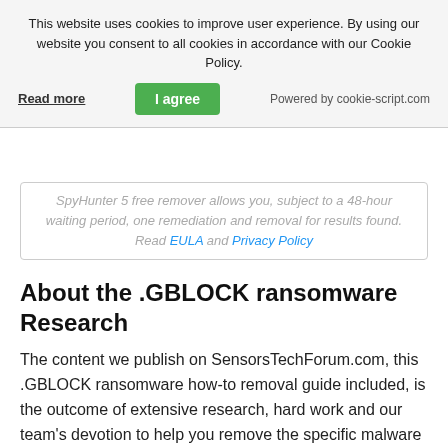This website uses cookies to improve user experience. By using our website you consent to all cookies in accordance with our Cookie Policy.
Read more | I agree | Powered by cookie-script.com
SpyHunter 5 free remover allows you, subject to a 48-hour waiting period, one remediation and removal for results found. Read EULA and Privacy Policy
About the .GBLOCK ransomware Research
The content we publish on SensorsTechForum.com, this .GBLOCK ransomware how-to removal guide included, is the outcome of extensive research, hard work and our team's devotion to help you remove the specific malware and restore your encrypted files.
How did I research the ransomware threats